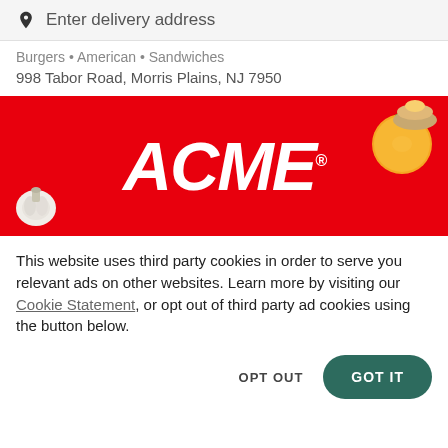Enter delivery address
Burgers • American • Sandwiches
998 Tabor Road, Morris Plains, NJ 7950
[Figure (logo): ACME supermarket logo on a red background with food items (garlic, orange) as decorative elements]
This website uses third party cookies in order to serve you relevant ads on other websites. Learn more by visiting our Cookie Statement, or opt out of third party ad cookies using the button below.
OPT OUT   GOT IT